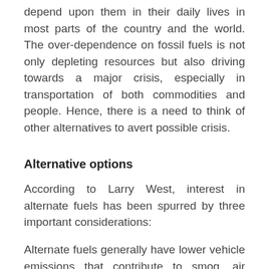depend upon them in their daily lives in most parts of the country and the world. The over-dependence on fossil fuels is not only depleting resources but also driving towards a major crisis, especially in transportation of both commodities and people. Hence, there is a need to think of other alternatives to avert possible crisis.
Alternative options
According to Larry West, interest in alternate fuels has been spurred by three important considerations:
Alternate fuels generally have lower vehicle emissions that contribute to smog, air pollution and global warming.